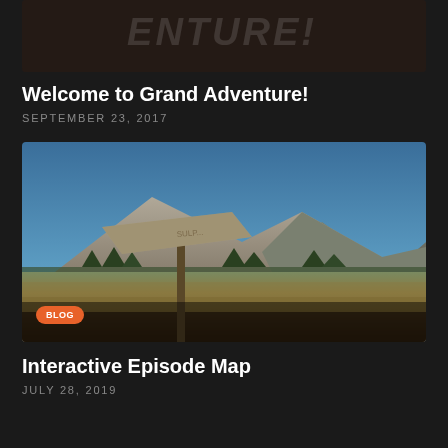[Figure (photo): Partial view of a video/blog post thumbnail with orange badge labeled BLOOPERS, OUTTAKES & OTHERS and large text partially visible in background]
Welcome to Grand Adventure!
SEPTEMBER 23, 2017
[Figure (photo): Outdoor mountain landscape photo with a weathered wooden trail sign in the foreground, mountains and blue sky in the background, with orange BLOG badge overlay]
Interactive Episode Map
JULY 28, 2019